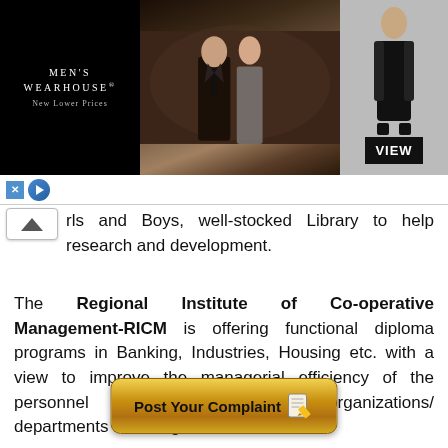[Figure (photo): Men's Wearhouse advertisement banner showing a couple in formal wear, a man in a tuxedo on the right side, with 'VIEW' button. Black background with 'MEN'S WEARHOUSE New Lower Prices' text on left.]
rls and Boys, well-stocked Library to help research and development.
The Regional Institute of Co-operative Management-RICM is offering functional diploma programs in Banking, Industries, Housing etc. with a view to improve the managerial efficiency of the personnel working in numerous organizations/ departments including defense services.
[Figure (illustration): Post Your Complaint button with notepad and pencil icon, gold/yellow gradient background]